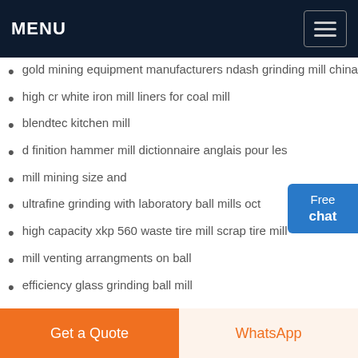MENU
gold mining equipment manufacturers ndash grinding mill china
high cr white iron mill liners for coal mill
blendtec kitchen mill
d finition hammer mill dictionnaire anglais pour les
mill mining size and
ultrafine grinding with laboratory ball mills oct
high capacity xkp 560 waste tire mill scrap tire mill
mill venting arrangments on ball
efficiency glass grinding ball mill
industrial grind mill troubleshooting guide
ygm8514 grinding mill
mill machine mine wet
host05u ultrafine powder mill for rod copper ore
Get a Quote | WhatsApp